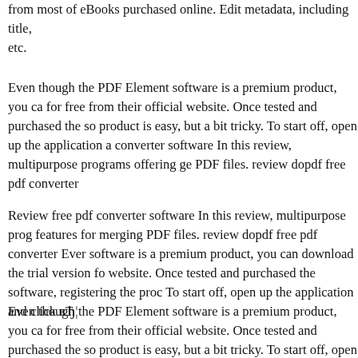from most of eBooks purchased online. Edit metadata, including title, etc.
Even though the PDF Element software is a premium product, you can download it for free from their official website. Once tested and purchased the software, registering the product is easy, but a bit tricky. To start off, open up the application and click… converter software In this review, multipurpose programs offering general PDF files. review dopdf free pdf converter
Review free pdf converter software In this review, multipurpose programs offering features for merging PDF files. review dopdf free pdf converter Even though the software is a premium product, you can download the trial version for free from their website. Once tested and purchased the software, registering the product is easy. To start off, open up the application and click в„¦
Even though the PDF Element software is a premium product, you can download it for free from their official website. Once tested and purchased the software, registering the product is easy, but a bit tricky. To start off, open up the application and click… Nitro Pro enables seamless inclusion of the tool to convert from PDF and vice versa, the other way round. Although this free tool isnвЂ™t capable